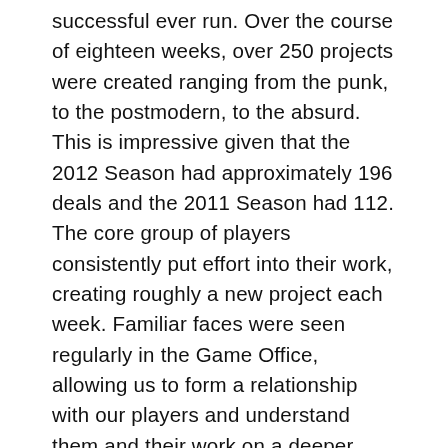successful ever run. Over the course of eighteen weeks, over 250 projects were created ranging from the punk, to the postmodern, to the absurd. This is impressive given that the 2012 Season had approximately 196 deals and the 2011 Season had 112. The core group of players consistently put effort into their work, creating roughly a new project each week. Familiar faces were seen regularly in the Game Office, allowing us to form a relationship with our players and understand them and their work on a deeper level. A greater variety of non-film Maker cards was included in the 2013 deck, allowing players to do work in different mediums such as derives, manifestos, and zines, marked by the largest number of nondigital games to have been seen in any version of Reality. Cross compatibility with the Annenberg version of the game allowed players to explore themes and mediums left untouched in film school, expanding their horizons